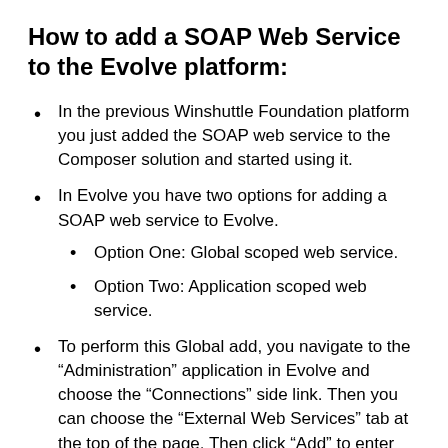How to add a SOAP Web Service to the Evolve platform:
In the previous Winshuttle Foundation platform you just added the SOAP web service to the Composer solution and started using it.
In Evolve you have two options for adding a SOAP web service to Evolve.
Option One: Global scoped web service.
Option Two: Application scoped web service.
To perform this Global add, you navigate to the “Administration” application in Evolve and choose the “Connections” side link. Then you can choose the “External Web Services” tab at the top of the page. Then click “Add” to enter the web service information and WSDL URL. If you are adding the web service to an application scoped location, then